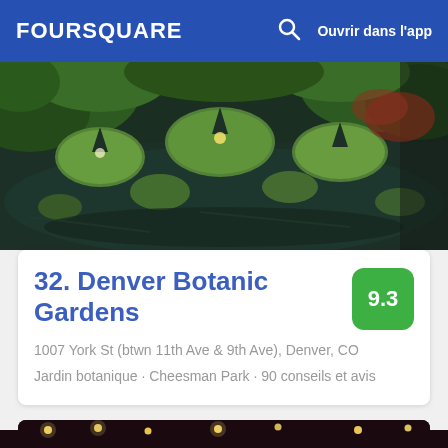FOURSQUARE    🔍    Ouvrir dans l'app
[Figure (photo): Top-down photo of a botanical garden pond with large lily pads and lush green foliage reflected in dark water]
32. Denver Botanic Gardens
1007 York St (btwn 11th Ave & 9th Ave), Denver, CO
Jardin botanique · Cheesman Park · 90 conseils et avis
[Figure (photo): Night scene with string lights and a neon sign reading WISH YOU WERE HERE]